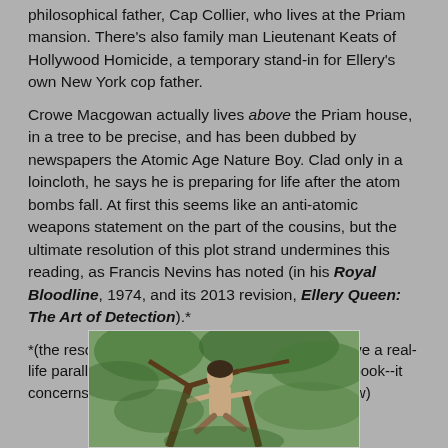philosophical father, Cap Collier, who lives at the Priam mansion. There's also family man Lieutenant Keats of Hollywood Homicide, a temporary stand-in for Ellery's own New York cop father.
Crowe Macgowan actually lives above the Priam house, in a tree to be precise, and has been dubbed by newspapers the Atomic Age Nature Boy. Clad only in a loincloth, he says he is preparing for life after the atom bombs fall. At first this seems like an anti-atomic weapons statement on the part of the cousins, but the ultimate resolution of this plot strand undermines this reading, as Francis Nevins has noted (in his Royal Bloodline, 1974, and its 2013 revision, Ellery Queen: The Art of Detection).*
*(the resolution of Crowe's story-line seems to have a real-life parallel: see here those of you have read the book--it concerns the individual pictured immediately below)
[Figure (photo): A person sitting among tree branches in a forested outdoor setting, viewed from below.]